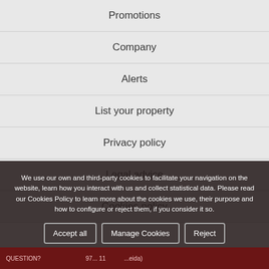Promotions
Company
Alerts
List your property
Privacy policy
Legal advice
Cookies policy
We use our own and third-party cookies to facilitate your navigation on the website, learn how you interact with us and collect statistical data. Please read our Cookies Policy to learn more about the cookies we use, their purpose and how to configure or reject them, if you consider it so.
Accept all | Manage Cookies | Reject